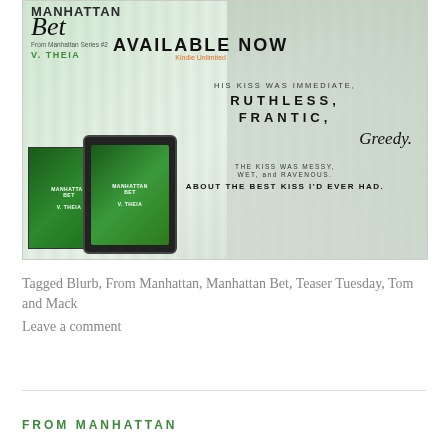[Figure (illustration): Book promotional image for 'Manhattan Bet' by V. Theia (From Manhattan Series #2). White/green wood-panel background with a shirtless male figure on the right. Left side shows book box set and e-reader. Text reads: AVAILABLE NOW / Kindle Unlimited / HIS KISS WAS IMMEDIATE, / RUTHLESS, / FRANTIC, / Greedy. / THE KISS WAS MESSY, / WET, and RAVENOUS. / ABOUT THE BEST KISS I'D EVER HAD.]
Tagged Blurb, From Manhattan, Manhattan Bet, Teaser Tuesday, Tom and Mack
Leave a comment
FROM MANHATTAN